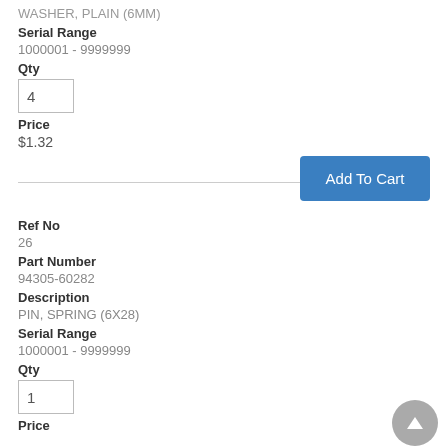WASHER, PLAIN (6MM)
Serial Range
1000001 - 9999999
Qty
4
Price
$1.32
Add To Cart
Ref No
26
Part Number
94305-60282
Description
PIN, SPRING (6X28)
Serial Range
1000001 - 9999999
Qty
1
Price